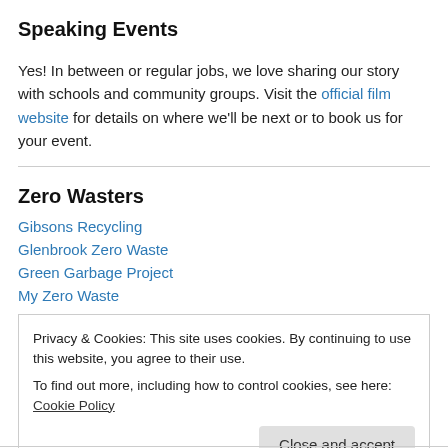Speaking Events
Yes! In between or regular jobs, we love sharing our story with schools and community groups. Visit the official film website for details on where we'll be next or to book us for your event.
Zero Wasters
Gibsons Recycling
Glenbrook Zero Waste
Green Garbage Project
My Zero Waste
Privacy & Cookies: This site uses cookies. By continuing to use this website, you agree to their use. To find out more, including how to control cookies, see here: Cookie Policy
Close and accept